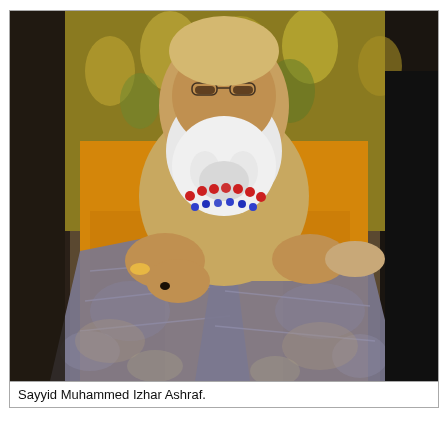[Figure (photo): A photograph of Sayyid Muhammed Izhar Ashraf, an elderly man with a large white beard, wearing ornate golden and colorful traditional robes, seated in a chair. He is dressed in bright orange/yellow garments with a grey patterned overlay cloth spread across his lap. He wears a red bead necklace and a ring with a dark stone.]
Sayyid Muhammed Izhar Ashraf.